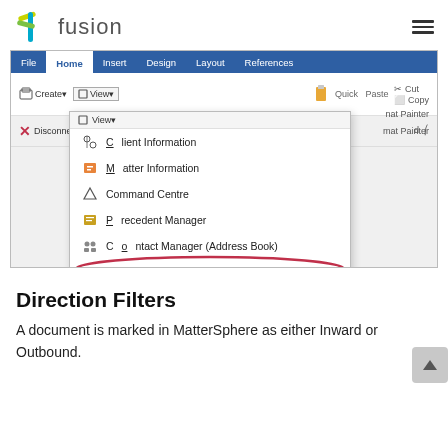fusion
[Figure (screenshot): Screenshot of MatterSphere fusion add-in in Microsoft Word, showing the Home tab ribbon with a dropdown menu open under 'View'. The dropdown lists: Client Information, Matter Information, Command Centre, Precedent Manager, Contact Manager (Address Book), Open Document. 'Open Document' is highlighted with a red oval circle.]
Direction Filters
A document is marked in MatterSphere as either Inward or Outbound.